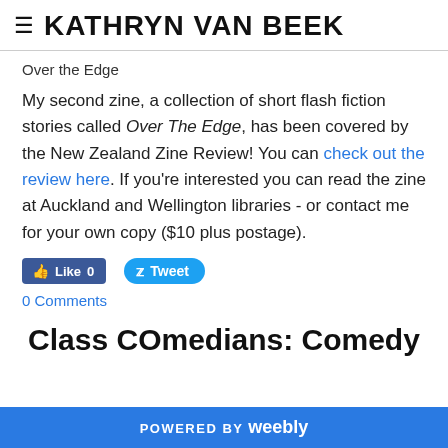≡ KATHRYN VAN BEEK
Over the Edge
My second zine, a collection of short flash fiction stories called Over The Edge, has been covered by the New Zealand Zine Review! You can check out the review here. If you're interested you can read the zine at Auckland and Wellington libraries - or contact me for your own copy ($10 plus postage).
[Figure (other): Social media buttons: Facebook Like (0) and Tweet buttons]
0 Comments
Class COmedians: Comedy
POWERED BY weebly